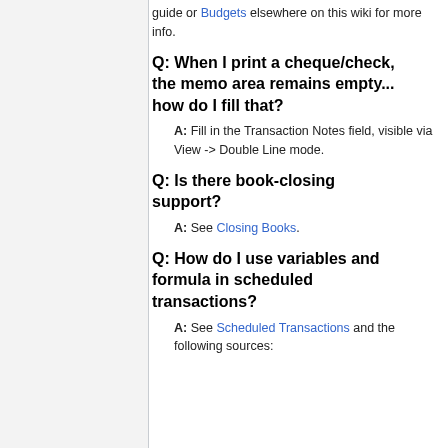guide or Budgets elsewhere on this wiki for more info.
Q: When I print a cheque/check, the memo area remains empty... how do I fill that?
A: Fill in the Transaction Notes field, visible via View -> Double Line mode.
Q: Is there book-closing support?
A: See Closing Books.
Q: How do I use variables and formula in scheduled transactions?
A: See Scheduled Transactions and the following sources: